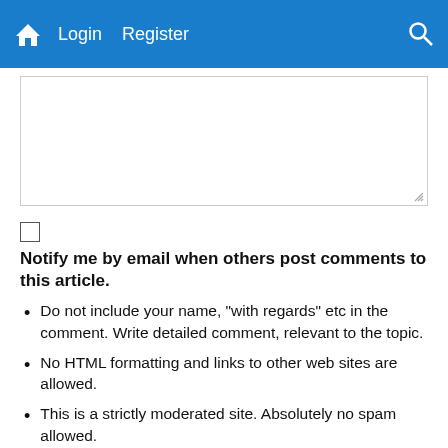Login  Register
[Figure (screenshot): Text area input box (empty), partially visible at top of content area]
Notify me by email when others post comments to this article.
Do not include your name, "with regards" etc in the comment. Write detailed comment, relevant to the topic.
No HTML formatting and links to other web sites are allowed.
This is a strictly moderated site. Absolutely no spam allowed.
Name: